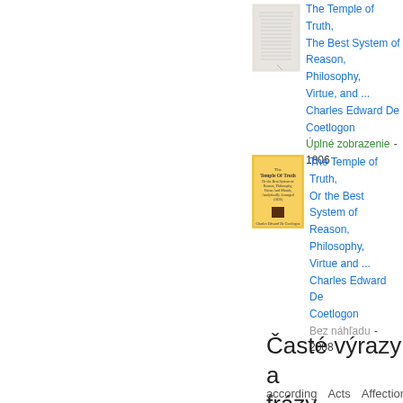[Figure (illustration): Thumbnail of old book 'The Temple of Truth' - greyscale book cover with small text]
The Temple of Truth, The Best System of Reason, Philosophy, Virtue, and ...
Charles Edward De Coetlogon
Úplné zobrazenie - 1806
[Figure (illustration): Thumbnail of 'The Temple of Truth Or the Best System of Reason, Philosophy, Virtue And Morals Analytically Arranged' - yellow/cream book cover]
The Temple of Truth, Or the Best System of Reason, Philosophy, Virtue and ...
Charles Edward De Coetlogon
Bez náhľadu - 2008
Zobraziť všetky »
Časté výrazy a frázy
according   Acts   Affections